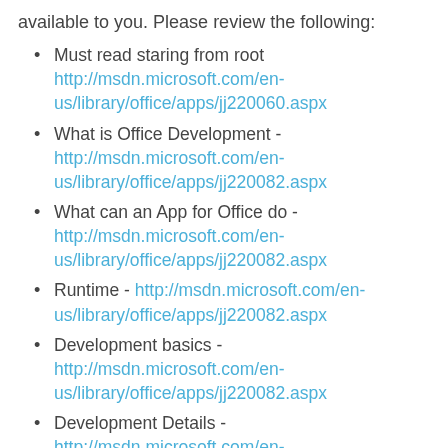available to you. Please review the following:
Must read staring from root http://msdn.microsoft.com/en-us/library/office/apps/jj220060.aspx
What is Office Development - http://msdn.microsoft.com/en-us/library/office/apps/jj220082.aspx
What can an App for Office do - http://msdn.microsoft.com/en-us/library/office/apps/jj220082.aspx
Runtime - http://msdn.microsoft.com/en-us/library/office/apps/jj220082.aspx
Development basics - http://msdn.microsoft.com/en-us/library/office/apps/jj220082.aspx
Development Details - http://msdn.microsoft.com/en-us/library/office/apps/jj220077.aspx
Scenarios: http://msdn.microsoft.com/en-